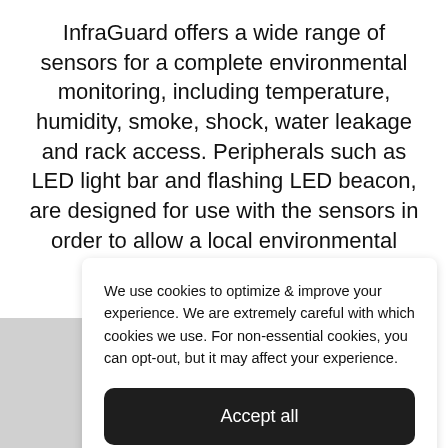InfraGuard offers a wide range of sensors for a complete environmental monitoring, including temperature, humidity, smoke, shock, water leakage and rack access. Peripherals such as LED light bar and flashing LED beacon, are designed for use with the sensors in order to allow a local environmental monitoring.
We use cookies to optimize & improve your experience. We are extremely careful with which cookies we use. For non-essential cookies, you can opt-out, but it may affect your experience.
Accept all
Opt-out preferences   Privacy Statement   Impressum